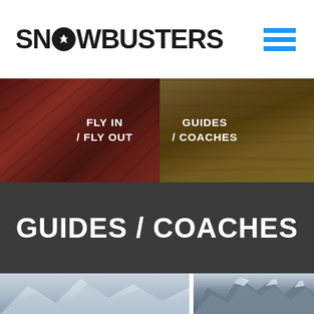SNOWBUSTERS
[Figure (screenshot): Navigation strip with two background photos (textile pattern on left, wooden texture on right) with dark overlay, showing navigation menu items FLY IN / FLY OUT and GUIDES / COACHES]
FLY IN / FLY OUT
GUIDES / COACHES
GUIDES / COACHES
[Figure (photo): Two mountain/snow landscape photos side by side at the bottom of the page]
[Figure (photo): Snow-covered mountains with overcast sky on the left]